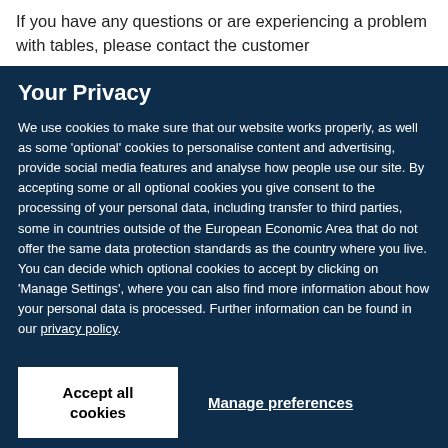If you have any questions or are experiencing a problem with tables, please contact the customer
Your Privacy
We use cookies to make sure that our website works properly, as well as some ‘optional’ cookies to personalise content and advertising, provide social media features and analyse how people use our site. By accepting some or all optional cookies you give consent to the processing of your personal data, including transfer to third parties, some in countries outside of the European Economic Area that do not offer the same data protection standards as the country where you live. You can decide which optional cookies to accept by clicking on ‘Manage Settings’, where you can also find more information about how your personal data is processed. Further information can be found in our privacy policy.
Accept all cookies
Manage preferences